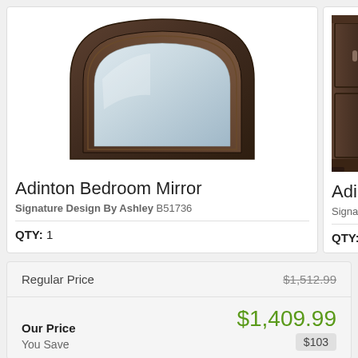[Figure (photo): Adinton Bedroom Mirror product photo — ornate dark wood frame with arched top]
Adinton Bedroom Mirror
Signature Design By Ashley B51736
QTY: 1
[Figure (photo): Partial view of Adinton dark wood furniture piece (wardrobe/armoire) cropped on right side]
Adinton
Signature
QTY: 1
| Regular Price | $1,512.99 |
| Our Price | $1,409.99 |
| You Save | $103 |